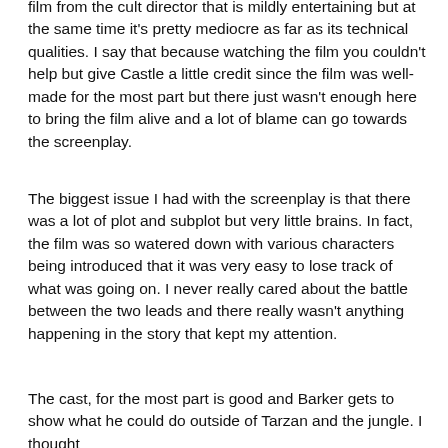film from the cult director that is mildly entertaining but at the same time it's pretty mediocre as far as its technical qualities. I say that because watching the film you couldn't help but give Castle a little credit since the film was well-made for the most part but there just wasn't enough here to bring the film alive and a lot of blame can go towards the screenplay.
The biggest issue I had with the screenplay is that there was a lot of plot and subplot but very little brains. In fact, the film was so watered down with various characters being introduced that it was very easy to lose track of what was going on. I never really cared about the battle between the two leads and there really wasn't anything happening in the story that kept my attention.
The cast, for the most part is good and Barker gets to show what he could do outside of Tarzan and the jungle. I thought